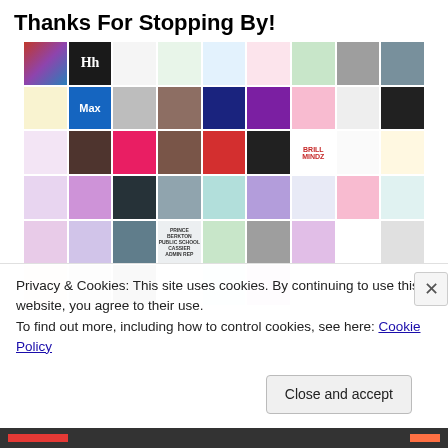Thanks For Stopping By!
[Figure (photo): A 9-column grid of user avatar thumbnails showing various illustrations, photos, cartoon characters, and profile pictures.]
Privacy & Cookies: This site uses cookies. By continuing to use this website, you agree to their use.
To find out more, including how to control cookies, see here: Cookie Policy
Close and accept